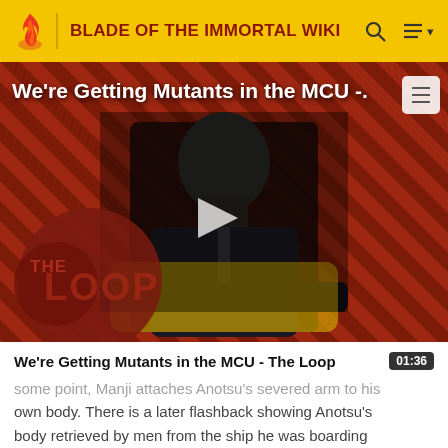BLADE OF THE IMMORTAL WIKI
[Figure (screenshot): Video thumbnail showing a bald man in a suit seated in a yellow chair against a red diagonal-striped background, with THE LOOP logo overlay and a play button in the center. Title overlay reads: We're Getting Mutants in the MCU -]
We're Getting Mutants in the MCU - The Loop
some point, Manji attaches Anotsu's severed arm to his own body. There is a later flashback showing Anotsu's body retrieved by men from the ship he was boarding who tell each other Anotsu's probably still alive, but Manji